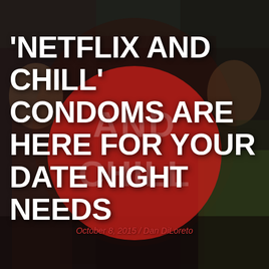[Figure (photo): Background photo of people at a festive/holiday party scene, darkened with overlay. A large red circular sign/prop with 'AND CHILL' text is centered. Bold white text headline overlaid reading 'NETFLIX AND CHILL' CONDOMS ARE HERE FOR YOUR DATE NIGHT NEEDS. Byline: October 8, 2015 / Dan DiLoreto in red italic text.]
'NETFLIX AND CHILL' CONDOMS ARE HERE FOR YOUR DATE NIGHT NEEDS
October 8, 2015 / Dan DiLoreto